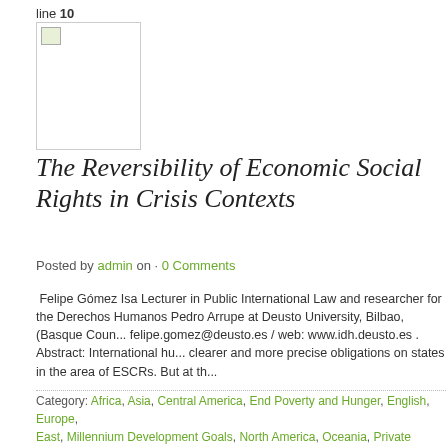line 10
[Figure (photo): Broken/placeholder image thumbnail]
The Reversibility of Economic Social Rights in Crisis Contexts
Posted by admin on · 0 Comments
Felipe Gómez Isa Lecturer in Public International Law and researcher for the Derechos Humanos Pedro Arrupe at Deusto University, Bilbao, (Basque Coun... felipe.gomez@deusto.es / web: www.idh.deusto.es . Abstract: International hu... clearer and more precise obligations on states in the area of ESCRs. But at th...
Category: Africa, Asia, Central America, End Poverty and Hunger, English, Europe, East, Millennium Development Goals, North America, Oceania, Private Institution, R... experiences, Your ideas · Tags: Child Health, Committee on Economic, Financial C... Human Rights Day, International Cooperation, Millennium Development Goals, Soc... Economic Rights, United Nations, Universal Education